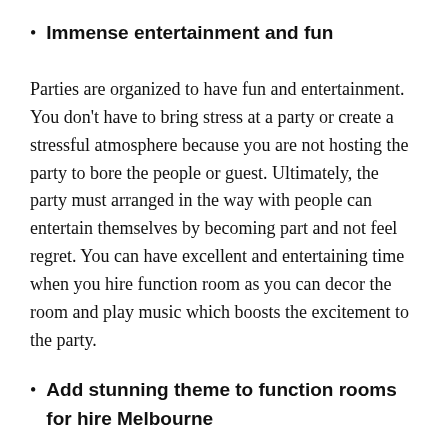Immense entertainment and fun
Parties are organized to have fun and entertainment. You don't have to bring stress at a party or create a stressful atmosphere because you are not hosting the party to bore the people or guest. Ultimately, the party must arranged in the way with people can entertain themselves by becoming part and not feel regret. You can have excellent and entertaining time when you hire function room as you can decor the room and play music which boosts the excitement to the party.
Add stunning theme to function rooms for hire Melbourne
The best and exciting idea you can add to the party is the theme, whether it's your son birthday or father. You can add design which your son or father love as it helps you to